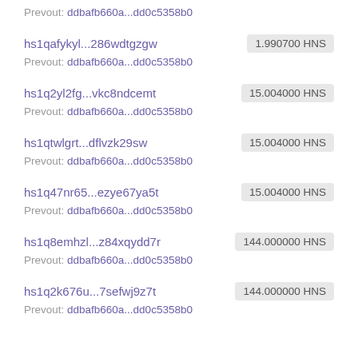Prevout: ddbafb660a...dd0c5358b0
hs1qafykyl...286wdtgzgw | 1.990700 HNS
Prevout: ddbafb660a...dd0c5358b0
hs1q2yl2fg...vkc8ndcemt | 15.004000 HNS
Prevout: ddbafb660a...dd0c5358b0
hs1qtwlgrt...dflvzk29sw | 15.004000 HNS
Prevout: ddbafb660a...dd0c5358b0
hs1q47nr65...ezye67ya5t | 15.004000 HNS
Prevout: ddbafb660a...dd0c5358b0
hs1q8emhzl...z84xqydd7r | 144.000000 HNS
Prevout: ddbafb660a...dd0c5358b0
hs1q2k676u...7sefwj9z7t | 144.000000 HNS
Prevout: ddbafb660a...dd0c5358b0